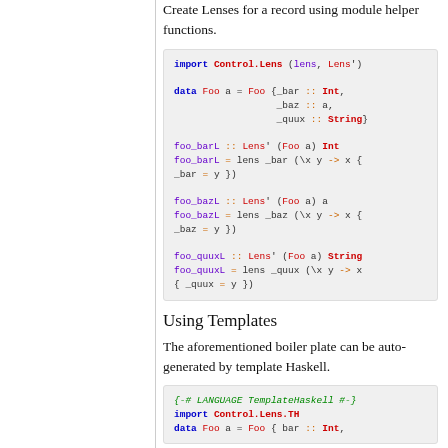Create Lenses for a record using module helper functions.
import Control.Lens (lens, Lens')

data Foo a = Foo {_bar :: Int,
                  _baz :: a,
                  _quux :: String}

foo_barL :: Lens' (Foo a) Int
foo_barL = lens _bar (\x y -> x {
_bar = y })

foo_bazL :: Lens' (Foo a) a
foo_bazL = lens _baz (\x y -> x {
_baz = y })

foo_quuxL :: Lens' (Foo a) String
foo_quuxL = lens _quux (\x y -> x
{ _quux = y })
Using Templates
The aforementioned boiler plate can be auto-generated by template Haskell.
{-# LANGUAGE TemplateHaskell #-}
import Control.Lens.TH
data Foo a = Foo { bar :: Int,